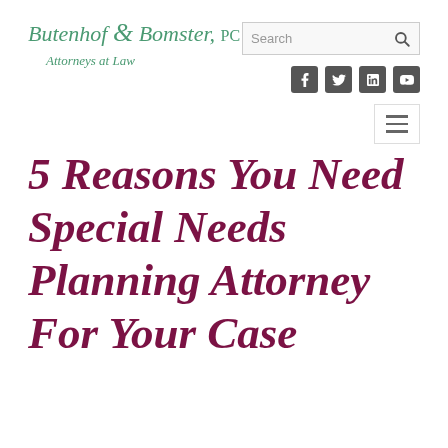Butenhof & Bomster, PC — Attorneys at Law
5 Reasons You Need Special Needs Planning Attorney For Your Case